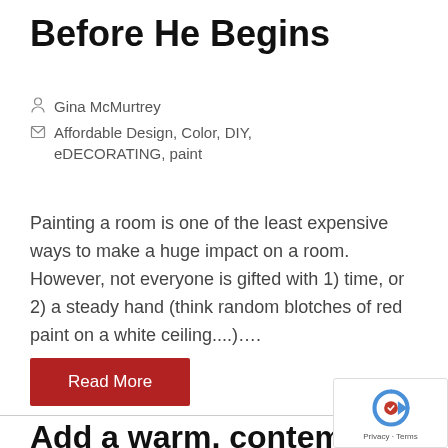Before He Begins
Gina McMurtrey
Affordable Design, Color, DIY, eDECORATING, paint
Painting a room is one of the least expensive ways to make a huge impact on a room.  However, not everyone is gifted with 1) time, or 2) a steady hand (think random blotches of red paint on a white ceiling...).....
Read More
Add a warm, contemporary lo…